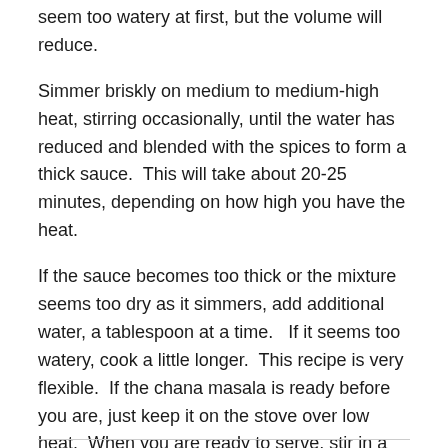seem too watery at first, but the volume will reduce.
Simmer briskly on medium to medium-high heat, stirring occasionally, until the water has reduced and blended with the spices to form a thick sauce.  This will take about 20-25 minutes, depending on how high you have the heat.
If the sauce becomes too thick or the mixture seems too dry as it simmers, add additional water, a tablespoon at a time.   If it seems too watery, cook a little longer.  This recipe is very flexible.  If the chana masala is ready before you are, just keep it on the stove over low heat.  When you are ready to serve, stir in a little more water and raise the heat.
Serve with rice.